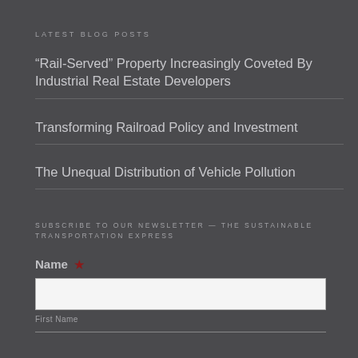Latest Blog Posts
“Rail-Served” Property Increasingly Coveted By Industrial Real Estate Developers
Transforming Railroad Policy and Investment
The Unequal Distribution of Vehicle Pollution
Subscribe To Our Newsletter — The Sustainable Transportation Express
Name *
First Name